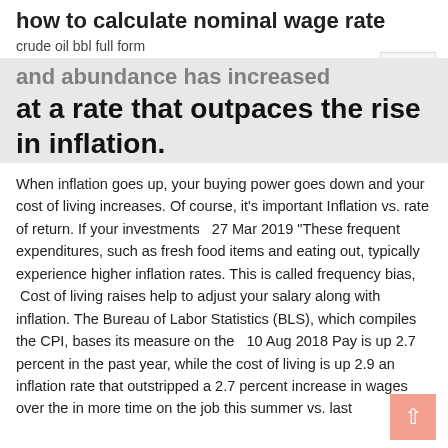how to calculate nominal wage rate
crude oil bbl full form
and abundance has increased at a rate that outpaces the rise in inflation.
When inflation goes up, your buying power goes down and your cost of living increases. Of course, it's important Inflation vs. rate of return. If your investments   27 Mar 2019 "These frequent expenditures, such as fresh food items and eating out, typically experience higher inflation rates. This is called frequency bias,  Cost of living raises help to adjust your salary along with inflation. The Bureau of Labor Statistics (BLS), which compiles the CPI, bases its measure on the   10 Aug 2018 Pay is up 2.7 percent in the past year, while the cost of living is up 2.9 an inflation rate that outstripped a 2.7 percent increase in wages over the in more time on the job this summer vs. last